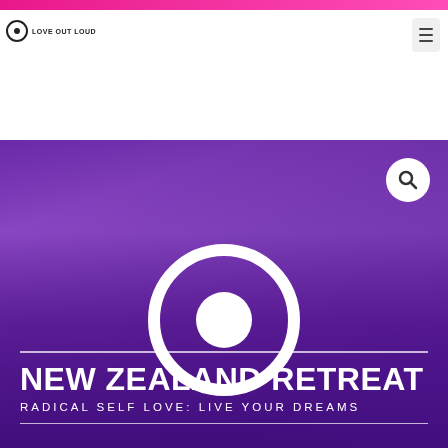[Figure (logo): Love Out Loud logo with circle and dot, small text reading LOVE OUT LOUD]
[Figure (screenshot): Hero banner with purple gradient background, large white ring logo icon, white horizontal dividers, bold white title NEW ZEALAND RETREAT, subtitle RADICAL SELF LOVE: LIVE YOUR DREAMS, and a search icon button in top right corner]